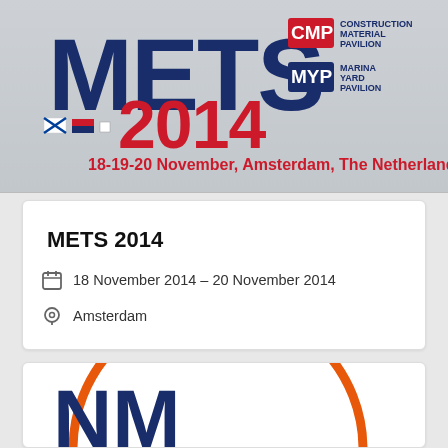[Figure (logo): METS 2014 trade show banner with logo showing large METS letters, CMP (Construction Material Pavilion) and MYP (Marina Yard Pavilion) logos, date 18-19-20 November, Amsterdam, The Netherlands in red text]
METS 2014
18 November 2014 – 20 November 2014
Amsterdam
[Figure (logo): Partial view of a logo with orange circle arc and dark blue stylized NM letters at bottom of page]